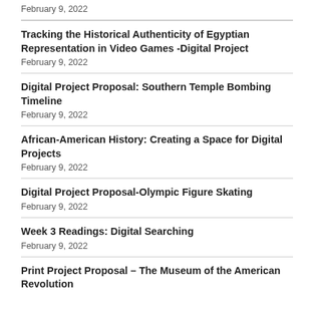February 9, 2022
Tracking the Historical Authenticity of Egyptian Representation in Video Games -Digital Project
February 9, 2022
Digital Project Proposal: Southern Temple Bombing Timeline
February 9, 2022
African-American History: Creating a Space for Digital Projects
February 9, 2022
Digital Project Proposal-Olympic Figure Skating
February 9, 2022
Week 3 Readings: Digital Searching
February 9, 2022
Print Project Proposal – The Museum of the American Revolution